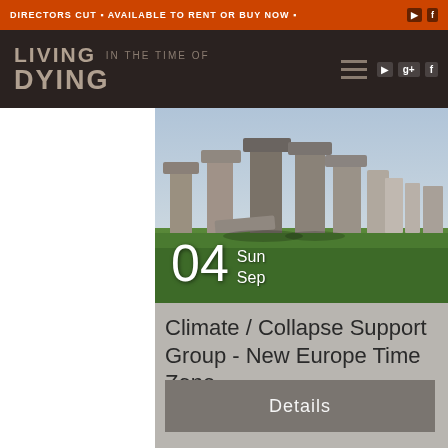DIRECTORS CUT ▪ AVAILABLE TO RENT OR BUY NOW ▪
LIVING IN THE TIME OF DYING
[Figure (photo): Stonehenge standing stones with green grass, outdoor photograph]
04 Sun Sep
Climate / Collapse Support Group - New Europe Time Zone
Details